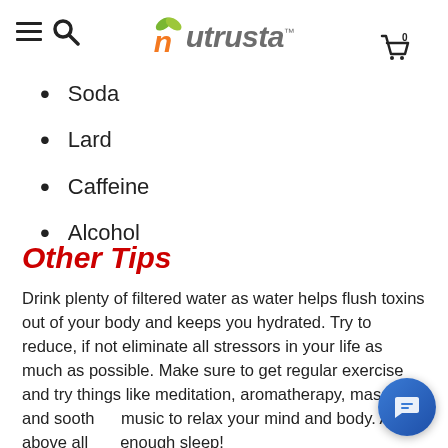Nutrusta
Soda
Lard
Caffeine
Alcohol
Other Tips
Drink plenty of filtered water as water helps flush toxins out of your body and keeps you hydrated. Try to reduce, if not eliminate all stressors in your life as much as possible. Make sure to get regular exercise and try things like meditation, aromatherapy, massage, and soothing music to relax your mind and body. And above all get enough sleep!